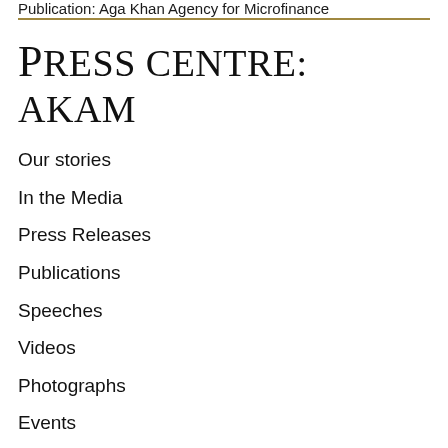Publication: Aga Khan Agency for Microfinance
Press Centre: AKAM
Our stories
In the Media
Press Releases
Publications
Speeches
Videos
Photographs
Events
Spotlights